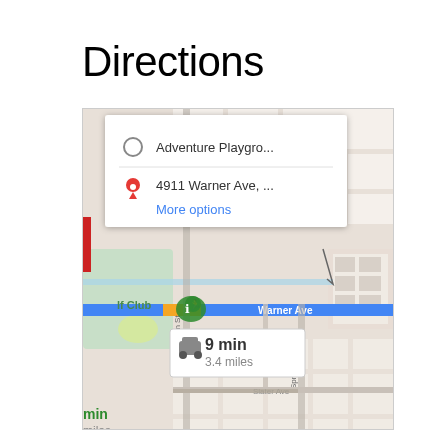Directions
[Figure (screenshot): Google Maps screenshot showing directions from Adventure Playground to 4911 Warner Ave. Map shows streets including Warner Ave (highlighted blue), Graham St, Slater Ave, and Springdale St. A driving summary box shows 9 min / 3.4 miles. A popup shows the origin and destination with a 'More options' link.]